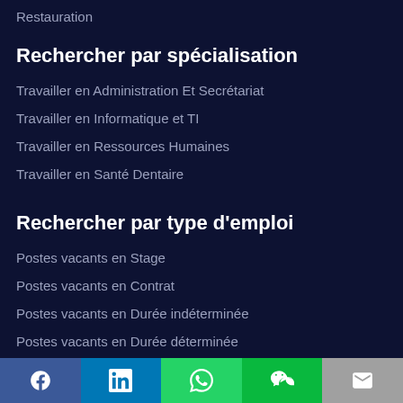Restauration
Rechercher par spécialisation
Travailler en Administration Et Secrétariat
Travailler en Informatique et TI
Travailler en Ressources Humaines
Travailler en Santé Dentaire
Rechercher par type d'emploi
Postes vacants en Stage
Postes vacants en Contrat
Postes vacants en Durée indéterminée
Postes vacants en Durée déterminée
Postes vacants en À définir
Social share bar: Facebook, LinkedIn, WhatsApp, WeChat, Email